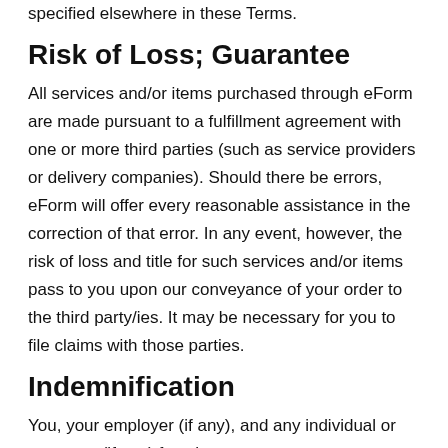specified elsewhere in these Terms.
Risk of Loss; Guarantee
All services and/or items purchased through eForm are made pursuant to a fulfillment agreement with one or more third parties (such as service providers or delivery companies). Should there be errors, eForm will offer every reasonable assistance in the correction of that error. In any event, however, the risk of loss and title for such services and/or items pass to you upon our conveyance of your order to the third party/ies. It may be necessary for you to file claims with those parties.
Indemnification
You, your employer (if any), and any individual or company (if any) for whom you are a contractor, agree to indemnify and hold eForm, our subsidiaries, affiliates, officers, agents, and other partners and